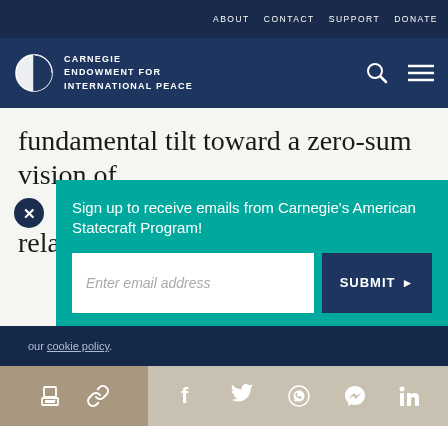ABOUT  CONTACT  SUPPORT  DONATE
[Figure (logo): Carnegie Endowment for International Peace logo with globe icon and navigation icons (search, menu)]
fundamental tilt toward a zero-sum vision of relations among nations?
[Figure (screenshot): Email signup popup overlay with teal background. Text: 'Sign up to receive emails from Carnegie's American Statecraft Program!' Input field: 'Enter email address'. Button: 'SUBMIT ►']
our cookie policy.
[Figure (infographic): Social share bar with print, link, Facebook, Twitter, WhatsApp, Messenger, and LinkedIn icons]